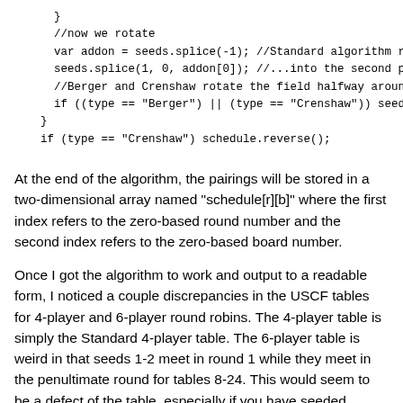}
//now we rotate
var addon = seeds.splice(-1); //Standard algorithm rota
seeds.splice(1, 0, addon[0]); //...into the second posi
//Berger and Crenshaw rotate the field halfway around
if ((type == "Berger") || (type == "Crenshaw")) seeds =
}
if (type == "Crenshaw") schedule.reverse();
At the end of the algorithm, the pairings will be stored in a two-dimensional array named "schedule[r][b]" where the first index refers to the zero-based round number and the second index refers to the zero-based board number.
Once I got the algorithm to work and output to a readable form, I noticed a couple discrepancies in the USCF tables for 4-player and 6-player round robins. The 4-player table is simply the Standard 4-player table. The 6-player table is weird in that seeds 1-2 meet in round 1 while they meet in the penultimate round for tables 8-24. This would seem to be a defect of the table, especially if you have seeded players into the round robin in descending rating order. However, the USCF tables also carry a not-so-useless provision that if a player drops out of an even round robin before playing 50%